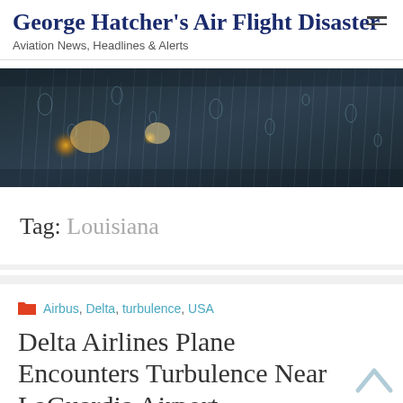George Hatcher's Air Flight Disaster — Aviation News, Headlines & Alerts
[Figure (photo): Raindrops on a dark glass window with blurred amber and yellow lights visible through the wet surface, dark teal/grey tones]
Tag: Louisiana
Airbus, Delta, turbulence, USA
Delta Airlines Plane Encounters Turbulence Near LaGuardia Airport